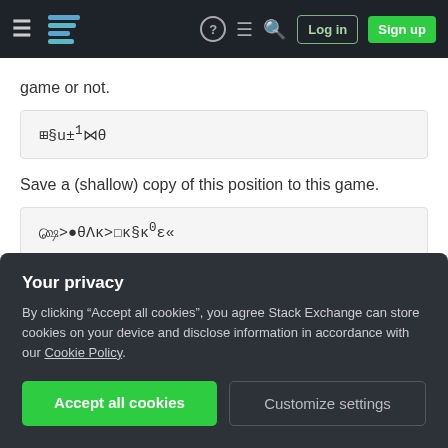Stack Exchange navigation bar with logo, icons, Log in, Sign up buttons
game or not.
Save a (shallow) copy of this position to this game.
If a recursive game is possible, then:
Your privacy
By clicking "Accept all cookies", you agree Stack Exchange can store cookies on your device and disclose information in accordance with our Cookie Policy.
Accept all cookies
Customize settings